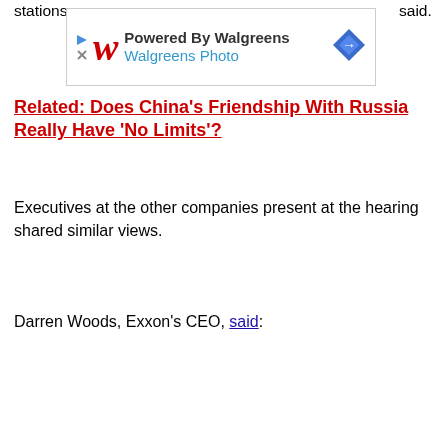stations said.
[Figure (other): Walgreens Photo advertisement banner with red italic W logo, 'Powered By Walgreens' text, 'Walgreens Photo' subtitle in blue, and a blue navigation diamond icon on the right. Close/play buttons on left.]
Related: Does China's Friendship With Russia Really Have 'No Limits'?
Executives at the other companies present at the hearing shared similar views.
Darren Woods, Exxon's CEO, said: